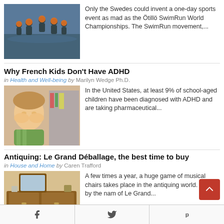[Figure (photo): Group of athletes in wetsuits running through shallow water]
Only the Swedes could invent a one-day sports event as mad as the Ötillö SwimRun World Championships. The SwimRun movement,...
Why French Kids Don't Have ADHD
in Health and Well-being by Marilyn Wedge Ph.D.
[Figure (photo): Young boy rubbing his eyes, appearing frustrated]
In the United States, at least 9% of school-aged children have been diagnosed with ADHD and are taking pharmaceutical...
Antiquing: Le Grand Déballage, the best time to buy
in House and Home by Caren Trafford
[Figure (photo): Antique wooden furniture in a shop]
A few times a year, a huge game of musical chairs takes place in the antiquing world. It goes by the name of Le Grand...